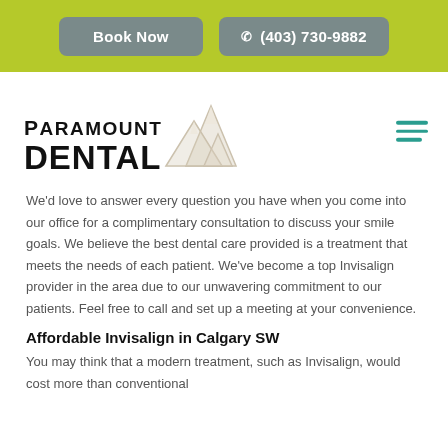Book Now  (403) 730-9882
[Figure (logo): Paramount Dental logo with mountain illustration]
We'd love to answer every question you have when you come into our office for a complimentary consultation to discuss your smile goals. We believe the best dental care provided is a treatment that meets the needs of each patient. We've become a top Invisalign provider in the area due to our unwavering commitment to our patients. Feel free to call and set up a meeting at your convenience.
Affordable Invisalign in Calgary SW
You may think that a modern treatment, such as Invisalign, would cost more than conventional braces, but that isn't the case. All of the...